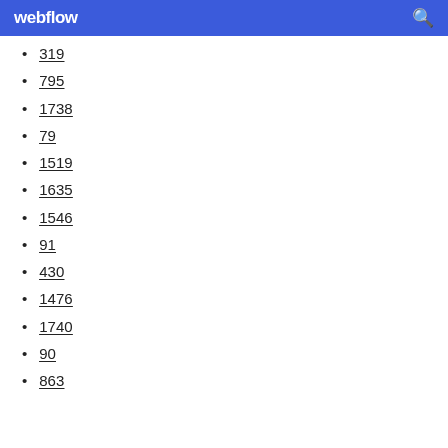webflow
319
795
1738
79
1519
1635
1546
91
430
1476
1740
90
863